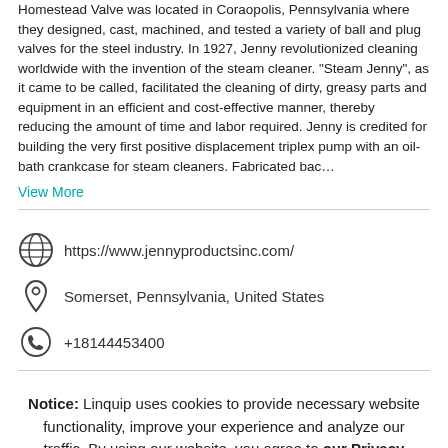Homestead Valve was located in Coraopolis, Pennsylvania where they designed, cast, machined, and tested a variety of ball and plug valves for the steel industry. In 1927, Jenny revolutionized cleaning worldwide with the invention of the steam cleaner. "Steam Jenny", as it came to be called, facilitated the cleaning of dirty, greasy parts and equipment in an efficient and cost-effective manner, thereby reducing the amount of time and labor required. Jenny is credited for building the very first positive displacement triplex pump with an oil-bath crankcase for steam cleaners. Fabricated bac…
View More
https://www.jennyproductsinc.com/
Somerset, Pennsylvania, United States
+18144453400
Notice: Linquip uses cookies to provide necessary website functionality, improve your experience and analyze our traffic. By using our website, you agree to our Privacy Policy and our Terms of Use.
OK